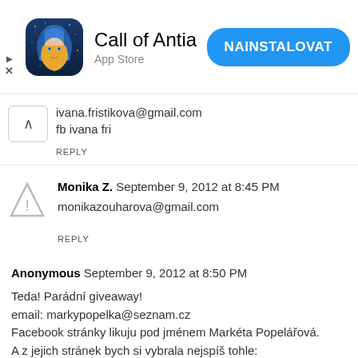[Figure (infographic): App Store advertisement banner for 'Call of Antia' mobile game with app icon, title, subtitle 'App Store', and blue 'NAINSTALOVAT' (install) button]
ivana.fristikova@gmail.com
fb ivana fri
REPLY
Monika Z.  September 9, 2012 at 8:45 PM
monikazouharova@gmail.com
REPLY
Anonymous  September 9, 2012 at 8:50 PM
Teda! Parádní giveaway!
email: markypopelka@seznam.cz
Facebook stránky likuju pod jménem Markéta Popelářová.
A z jejich stránek bych si vybrala nejspíš tohle:
http://www.romwe.com/hollow-dots-white-shift-dress-p...